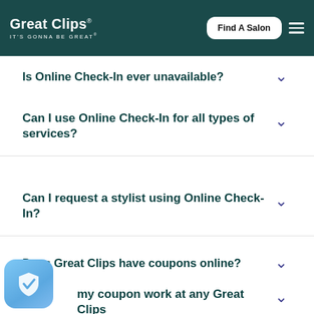Great Clips — IT'S GONNA BE GREAT — Find A Salon
Is Online Check-In ever unavailable?
Can I use Online Check-In for all types of services?
Can I request a stylist using Online Check-In?
Does Great Clips have coupons online?
...my coupon work at any Great Clips ...ation?
[Figure (logo): Blue shield with checkmark icon in bottom-left corner]